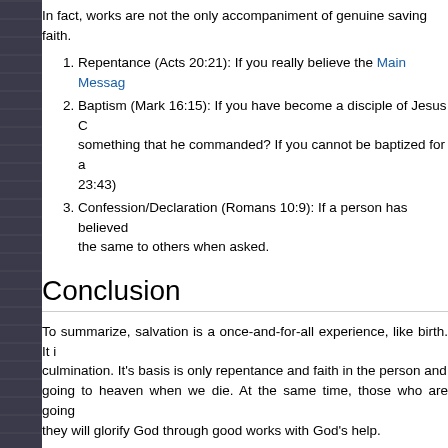In fact, works are not the only accompaniment of genuine saving faith.
Repentance (Acts 20:21): If you really believe the Main Message...
Baptism (Mark 16:15): If you have become a disciple of Jesus C... something that he commanded? If you cannot be baptized for a... 23:43)
Confession/Declaration (Romans 10:9): If a person has believed... the same to others when asked.
Conclusion
To summarize, salvation is a once-and-for-all experience, like birth. It... culmination. It's basis is only repentance and faith in the person and... going to heaven when we die. At the same time, those who are going... they will glorify God through good works with God's help.
Paul says that "in it [the gospel] is the righteousness of God revealed... righteous God is, but the gospel reveals His righteousness. What... righteousness? Precisely this, that the world believes that good wo... righteousness is as puny as their own! So does the Roman Catholic C... play an instrumental role in salvation! However, the true gospel revea... God's standards are so high that only by availing of Christ's perfect ri...